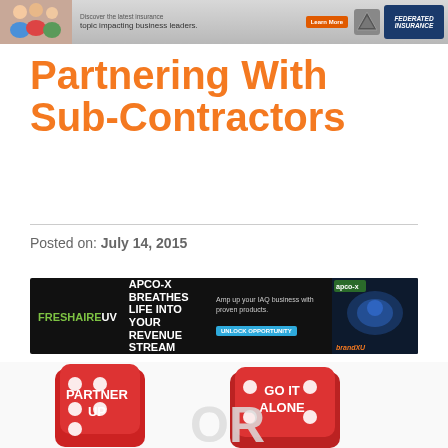Discover the latest insurance topic impacting business leaders. Learn More | Federated Insurance
Partnering With Sub-Contractors
Posted on: July 14, 2015
[Figure (infographic): FRESH AIRE UV advertisement banner - APCO-X BREATHES LIFE INTO YOUR REVENUE STREAM. Amp up your IAQ business with proven products. UNLOCK OPPORTUNITY button.]
[Figure (photo): Two red dice showing 'PARTNER UP' and 'GO IT ALONE' with white 'OR' letters between them on a white background.]